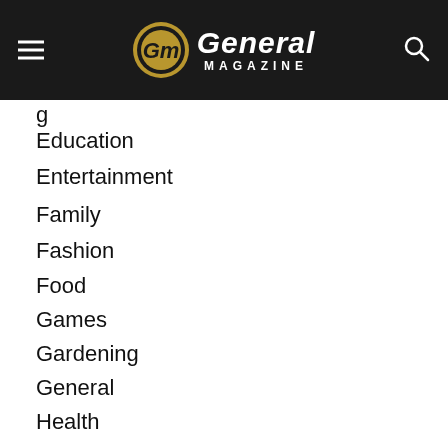General Magazine
g
Education
Entertainment
Family
Fashion
Food
Games
Gardening
General
Health
Home Improvement
Parenting
Pet
SEO